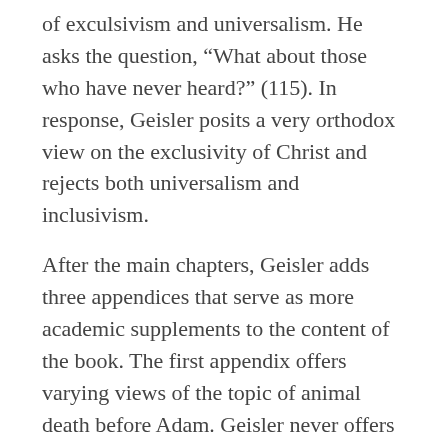of exculsivism and universalism. He asks the question, “What about those who have never heard?” (115). In response, Geisler posits a very orthodox view on the exclusivity of Christ and rejects both universalism and inclusivism.
After the main chapters, Geisler adds three appendices that serve as more academic supplements to the content of the book. The first appendix offers varying views of the topic of animal death before Adam. Geisler never offers his own conclusion but provides various alternatives with both their strengths and weaknesses. The second appendix is a development of some of the classical arguments for God’s existence, including the cosmological argument, the teleological argument, and the